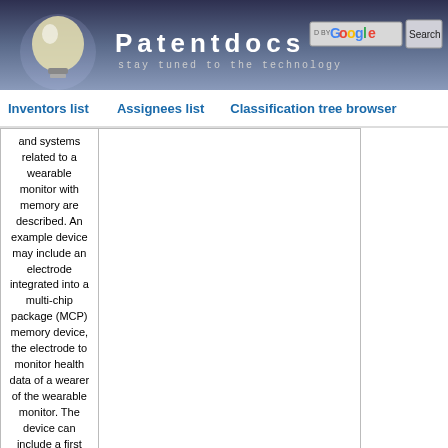[Figure (screenshot): Patentdocs website header with lightbulb logo, brand name, tagline 'stay tuned to the technology', Google search box and Search button]
Inventors list   Assignees list   Classification tree browser
|  | Patent number | Abstract | Date |
| --- | --- | --- | --- |
|  | 20220076816 | and systems related to a wearable monitor with memory are described. An example device may include an electrode integrated into a multi-chip package (MCP) memory device, the electrode to monitor health data of a wearer of the wearable monitor. The device can include a first processing resource coupled to the MCP memory device, the electrode, or both, to receive the monitored health data. The MCP memory device may store the received health data. The MCP memory device may also be coupled to a wireless communication device. The wireless communication device may transfer the stored health data to a computing device. The computing device may be communicatively coupled to the example device. | 2022-03-10 |
|  | METHOD FOR DETERMINING A MODEL OF AN EXTREMITY |  |  |